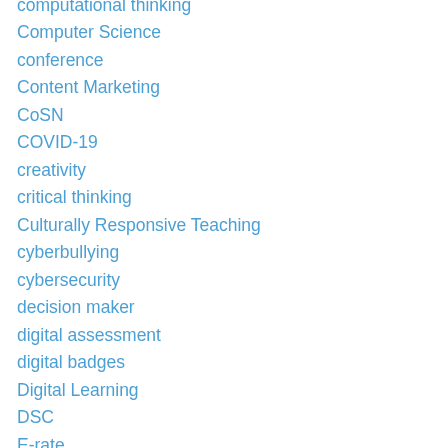computational thinking
Computer Science
conference
Content Marketing
CoSN
COVID-19
creativity
critical thinking
Culturally Responsive Teaching
cyberbullying
cybersecurity
decision maker
digital assessment
digital badges
Digital Learning
DSC
E-rate
edtech
education
Education Equity